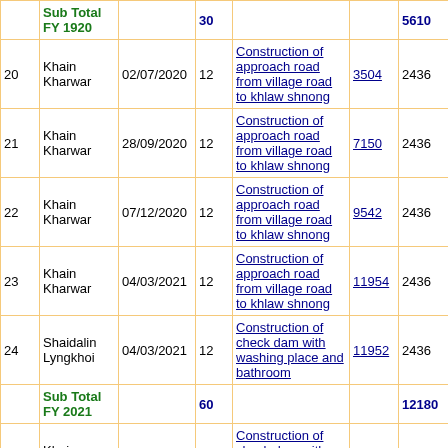| No | Village | Date | Days | Work | Ref | Amount | Balance |
| --- | --- | --- | --- | --- | --- | --- | --- |
| Sub Total FY 1920 |  |  | 30 |  |  | 5610 | 0 |
| 20 | Khain Kharwar | 02/07/2020 | 12 | Construction of approach road from village road to khlaw shnong | 3504 | 2436 | 0 |
| 21 | Khain Kharwar | 28/09/2020 | 12 | Construction of approach road from village road to khlaw shnong | 7150 | 2436 | 0 |
| 22 | Khain Kharwar | 07/12/2020 | 12 | Construction of approach road from village road to khlaw shnong | 9542 | 2436 | 0 |
| 23 | Khain Kharwar | 04/03/2021 | 12 | Construction of approach road from village road to khlaw shnong | 11954 | 2436 | 0 |
| 24 | Shaidalin Lyngkhoi | 04/03/2021 | 12 | Construction of check dam with washing place and bathroom | 11952 | 2436 | 0 |
| Sub Total FY 2021 |  |  | 60 |  |  | 12180 | 0 |
| 25 | Khain Kharwar | 06/05/2021 | 12 | Construction of check dam with washing place and bathroom | 183 | 2712 | 0 |